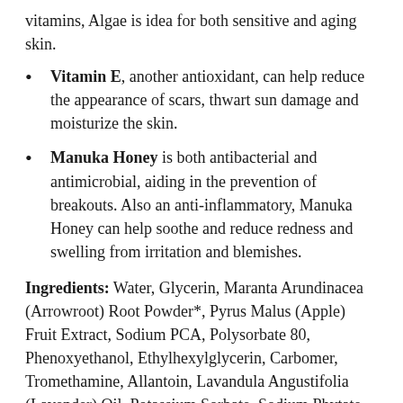vitamins, Algae is idea for both sensitive and aging skin.
Vitamin E, another antioxidant, can help reduce the appearance of scars, thwart sun damage and moisturize the skin.
Manuka Honey is both antibacterial and antimicrobial, aiding in the prevention of breakouts. Also an anti-inflammatory, Manuka Honey can help soothe and reduce redness and swelling from irritation and blemishes.
Ingredients: Water, Glycerin, Maranta Arundinacea (Arrowroot) Root Powder*, Pyrus Malus (Apple) Fruit Extract, Sodium PCA, Polysorbate 80, Phenoxyethanol, Ethylhexylglycerin, Carbomer, Tromethamine, Allantoin, Lavandula Angustifolia (Lavender) Oil, Potassium Sorbate, Sodium Phytate, Coconut Alkanes, Coco-Caprylate/Caprate, Plantago Lanceolata Leaf